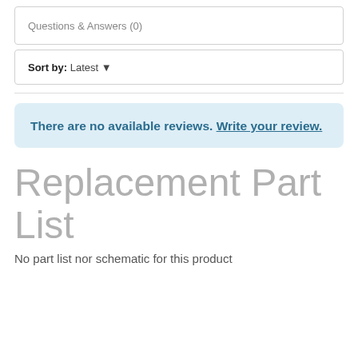Questions & Answers (0)
Sort by: Latest
There are no available reviews. Write your review.
Replacement Part List
No part list nor schematic for this product